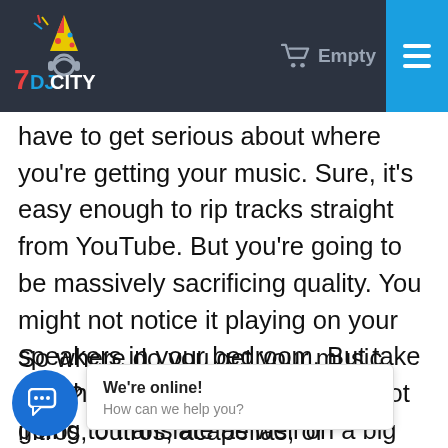DJ CITY — Empty (cart) — hamburger menu
have to get serious about where you're getting your music. Sure, it's easy enough to rip tracks straight from YouTube. But you're going to be massively sacrificing quality. You might not notice it playing on your speakers in your bedroom. But take it to the main stage and it's just not going to translate as well on a big PA system.
So where do you get your music from? Whether you're looking for intros, outros, acapellas, or [something] at place to look. Allowing you to download high-quality, DJ-ready
We're online! How can we help you?